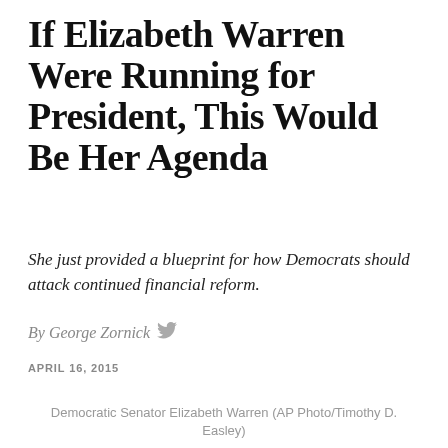If Elizabeth Warren Were Running for President, This Would Be Her Agenda
She just provided a blueprint for how Democrats should attack continued financial reform.
By George Zornick
APRIL 16, 2015
Democratic Senator Elizabeth Warren (AP Photo/Timothy D. Easley)